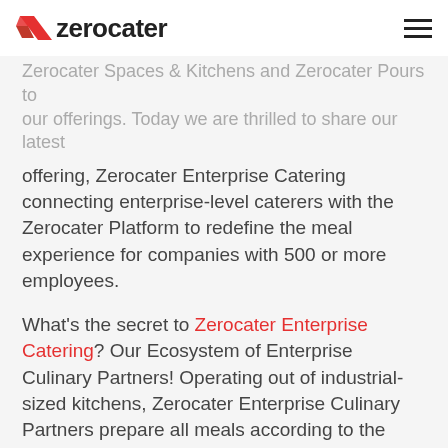zerocater
Zerocater Spaces & Kitchens and Zerocater Pours to our offerings. Today we are thrilled to share our latest offering, Zerocater Enterprise Catering connecting enterprise-level caterers with the Zerocater Platform to redefine the meal experience for companies with 500 or more employees.
What's the secret to Zerocater Enterprise Catering? Our Ecosystem of Enterprise Culinary Partners! Operating out of industrial-sized kitchens, Zerocater Enterprise Culinary Partners prepare all meals according to the highest industry standards of commercial food safety, weigh meals to ensure portioning accuracy and deliver through a temperature controlled delivery fleet. Our Enterprise Culinary Partners include Alicia's Tamales, Vive la Tarte, and Dos Toros Taqueria.